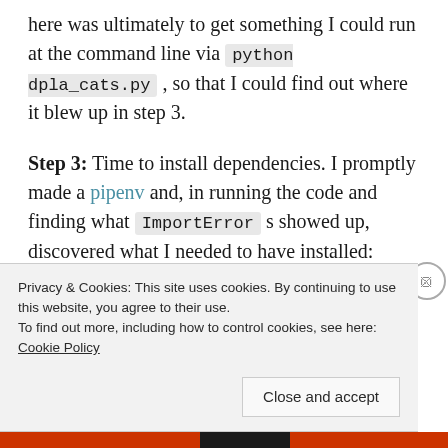here was ultimately to get something I could run at the command line via python dpla_cats.py , so that I could find out where it blew up in step 3.
Step 3: Time to install dependencies. I promptly made a pipenv and, in running the code and finding what ImportError s showed up, discovered what I needed to have installed: scipy, pillow, imageio, tensorflow . Whatever available versions of the former three worked, but for tensorflow I pinned to the version used in Coursera — 1.2.1 — because
Privacy & Cookies: This site uses cookies. By continuing to use this website, you agree to their use.
To find out more, including how to control cookies, see here: Cookie Policy